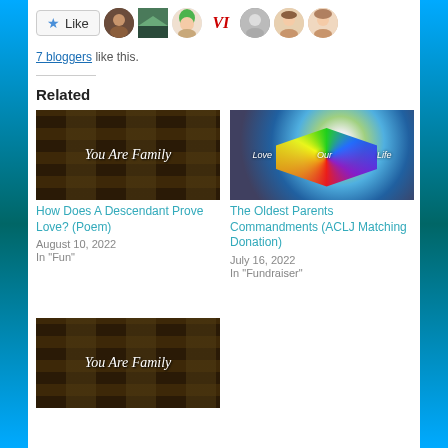[Figure (other): Like button with star icon, followed by 7 blogger avatar thumbnails]
7 bloggers like this.
Related
[Figure (photo): Dark patterned image with gothic text reading 'You Are Family']
How Does A Descendant Prove Love? (Poem)
August 10, 2022
In "Fun"
[Figure (photo): Colorful heart image with rainbow colors, bright light, text reading 'Love Our Life']
The Oldest Parents Commandments (ACLJ Matching Donation)
July 16, 2022
In "Fundraiser"
[Figure (photo): Dark patterned image with gothic text reading 'You Are Family' (third card, partially visible)]